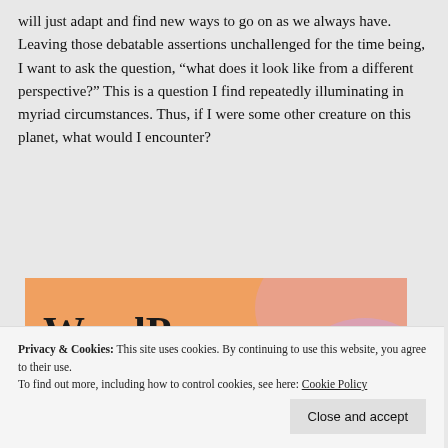will just adapt and find new ways to go on as we always have. Leaving those debatable assertions unchallenged for the time being, I want to ask the question, “what does it look like from a different perspective?” This is a question I find repeatedly illuminating in myriad circumstances. Thus, if I were some other creature on this planet, what would I encounter?
[Figure (illustration): Advertisement banner showing text 'WordPress in the back.' on a colorful orange and pink abstract background with a logo at the bottom]
Privacy & Cookies: This site uses cookies. By continuing to use this website, you agree to their use.
To find out more, including how to control cookies, see here: Cookie Policy